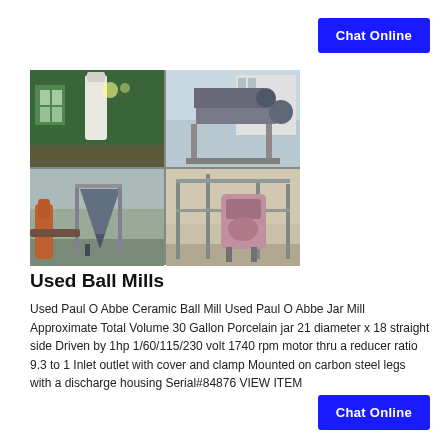[Figure (photo): Collage of four industrial ball mill equipment photos showing machinery in factory/outdoor settings]
Used Ball Mills
Used Paul O Abbe Ceramic Ball Mill Used Paul O Abbe Jar Mill Approximate Total Volume 30 Gallon Porcelain jar 21 diameter x 18 straight side Driven by 1hp 1/60/115/230 volt 1740 rpm motor thru a reducer ratio 9.3 to 1 Inlet outlet with cover and clamp Mounted on carbon steel legs with a discharge housing Serial#84876 VIEW ITEM